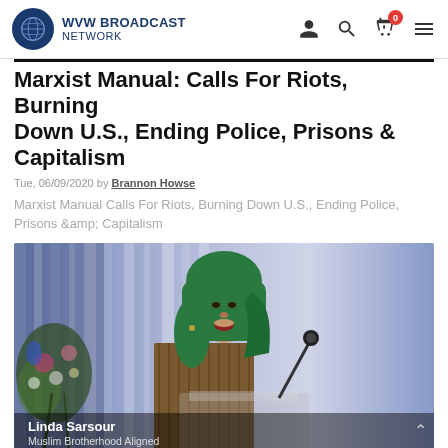WVW BROADCAST NETWORK
Marxist Manual Calls For Riots, Burning Down U.S., Ending Police, Prisons & Capitalism
Tue, 06/09/2020 by Brannon Howse
Marxist Manual Calls For Riots, Burning Down U.S., Ending Police, Prisons &amp; Capitalism
[Figure (photo): Linda Sarsour speaking at a podium wearing a green hijab, with flowers and blue drapes in background. Text overlay: Linda Sarsour / Muslim Brotherhood Aligned]